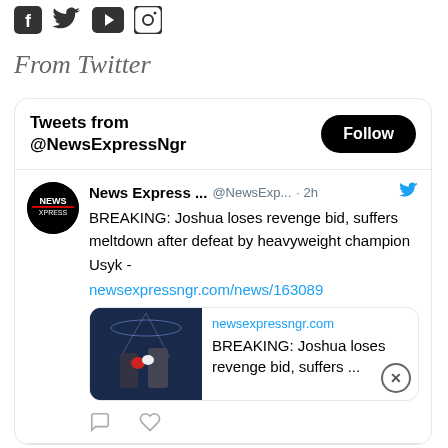Social media icons: Facebook, Twitter, YouTube, Instagram
From Twitter
[Figure (screenshot): Twitter widget showing tweets from @NewsExpressNgr with a Follow button, a tweet about Joshua losing revenge bid, a link preview card with boxing image and headline, and action icons below.]